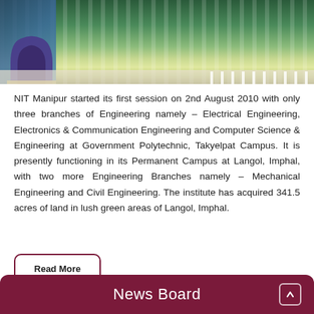[Figure (photo): Aerial/elevated view of NIT Manipur campus showing green grounds, entrance arch, and surrounding area]
NIT Manipur started its first session on 2nd August 2010 with only three branches of Engineering namely - Electrical Engineering, Electronics & Communication Engineering and Computer Science & Engineering at Government Polytechnic, Takyelpat Campus. It is presently functioning in its Permanent Campus at Langol, Imphal, with two more Engineering Branches namely - Mechanical Engineering and Civil Engineering. The institute has acquired 341.5 acres of land in lush green areas of Langol, Imphal.
Read More
News Board